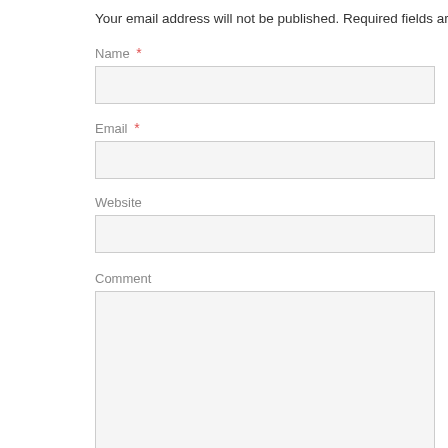Your email address will not be published. Required fields are m
Name *
Email *
Website
Comment